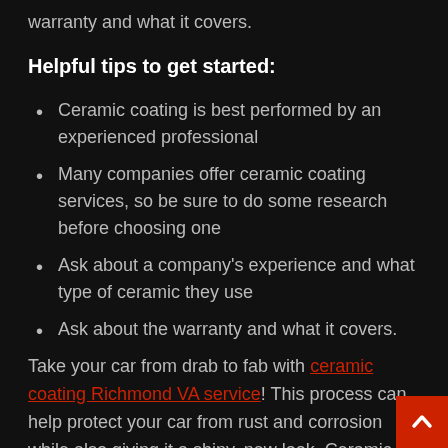warranty and what it covers.
Helpful tips to get started:
Ceramic coating is best performed by an experienced professional
Many companies offer ceramic coating services, so be sure to do some research before choosing one
Ask about a company's experience and what type of ceramic they use
Ask about the warranty and what it covers.
Take your car from drab to fab with ceramic coating Richmond VA service! This process can help protect your car from rust and corrosion while also giving it a shiny, new look. Ceramic coating is a great way to protect your old car and keep it looking new. If